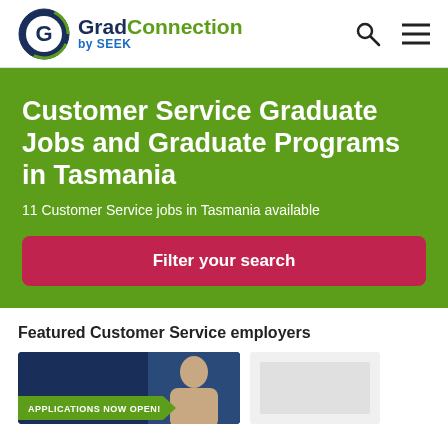GradConnection by SEEK
Customer Service Graduate Jobs and Graduate Programs in Tasmania
11 Customer Service jobs in Tasmania available
Filter your search
Featured Customer Service employers
[Figure (screenshot): Employer card with APPLICATIONS NOW OPEN! banner on dark background]
[Figure (screenshot): Second employer card with light background]